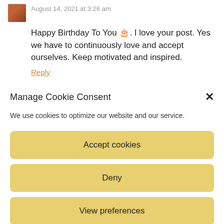August 14, 2021 at 3:26 am
Happy Birthday To You 🎂. I love your post. Yes we have to continuously love and accept ourselves. Keep motivated and inspired.
Reply
Manage Cookie Consent
We use cookies to optimize our website and our service.
Accept cookies
Deny
View preferences